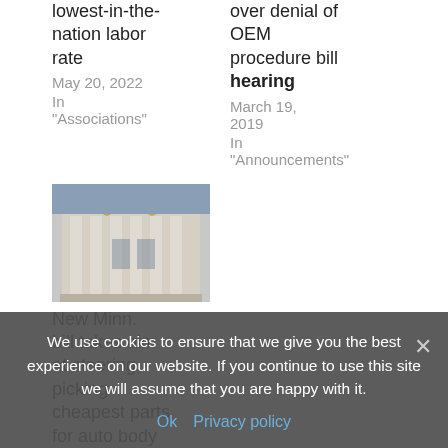lowest-in-the-nation labor rate
May 20, 2022
In "Associations"
over denial of OEM procedure bill hearing
March 19, 2019
In "Announcements"
[Figure (photo): Photo of a government building with golden statues on the facade]
New Minn. bill takes aim at steering, picking cheapest parts for auto body repair...
May 20, 2019
In "Associations"
We use cookies to ensure that we give you the best experience on our website. If you continue to use this site we will assume that you are happy with it.
Ok   Privacy policy